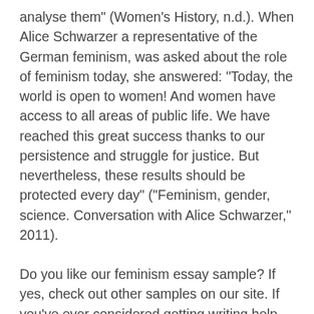analyse them" (Women's History, n.d.). When Alice Schwarzer a representative of the German feminism, was asked about the role of feminism today, she answered: "Today, the world is open to women! And women have access to all areas of public life. We have reached this great success thanks to our persistence and struggle for justice. But nevertheless, these results should be protected every day" ("Feminism, gender, science. Conversation with Alice Schwarzer," 2011).
Do you like our feminism essay sample? If yes, check out other samples on our site. If you've ever considered getting writing help, then EssayShark.com is the best place for you. You will be able to get a high-quality paper without effort. Sounds like a good way to forget your writing problems, doesn't it? If you decide to order a feminism essay or any other type of paper, simply place an order with your requirements and set the deadline. If you choose our service as your helper, you will easily